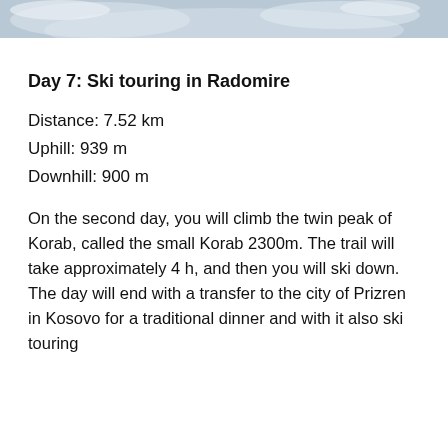[Figure (photo): Top portion of a snow-covered mountain landscape photo, cropped at top of page]
Day 7: Ski touring in Radomire
Distance: 7.52 km
Uphill: 939 m
Downhill: 900 m
On the second day, you will climb the twin peak of Korab, called the small Korab 2300m. The trail will take approximately 4 h, and then you will ski down. The day will end with a transfer to the city of Prizren in Kosovo for a traditional dinner and with it also ski touring
[Figure (other): Green contact button overlay with chat icon and 'Contact' label]
Day 8: Departure day